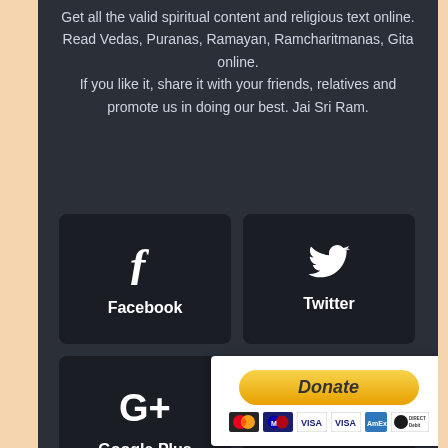Get all the valid spiritual content and religious text online. Read Vedas, Puranas, Ramayan, Ramcharitmanas, Gita online. If you like it, share it with your friends, relatives and promote us in doing our best. Jai Sri Ram.
[Figure (other): Facebook social share button with Facebook 'f' icon and label]
[Figure (other): Twitter social share button with Twitter bird icon and label]
[Figure (other): Google Plus social share button with G+ icon and label]
[Figure (other): PayPal Donate button with payment icons (MasterCard, Maestro, VISA, VISA, Amex, Direct Debit)]